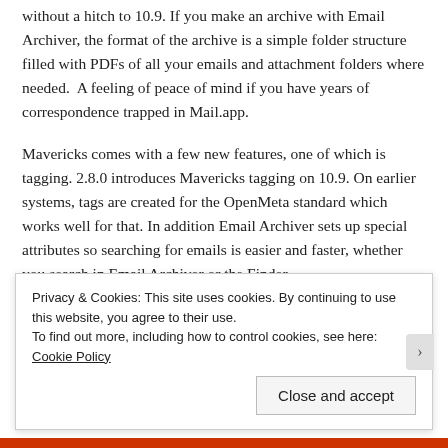without a hitch to 10.9. If you make an archive with Email Archiver, the format of the archive is a simple folder structure filled with PDFs of all your emails and attachment folders where needed.  A feeling of peace of mind if you have years of correspondence trapped in Mail.app.
Mavericks comes with a few new features, one of which is tagging. 2.8.0 introduces Mavericks tagging on 10.9. On earlier systems, tags are created for the OpenMeta standard which works well for that. In addition Email Archiver sets up special attributes so searching for emails is easier and faster, whether you search in Email Archiver or the Finder.
Version 2.8.0 features a solution for the export problem – we have
Privacy & Cookies: This site uses cookies. By continuing to use this website, you agree to their use.
To find out more, including how to control cookies, see here: Cookie Policy
Close and accept